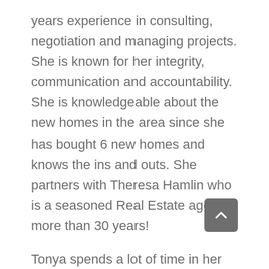years experience in consulting, negotiation and managing projects. She is known for her integrity, communication and accountability. She is knowledgeable about the new homes in the area since she has bought 6 new homes and knows the ins and outs. She partners with Theresa Hamlin who is a seasoned Real Estate agent of more than 30 years!
Tonya spends a lot of time in her community. She volunteers, has raised two boys who have attended school in Roseville, Lincoln and Loomis and loves to travel to our local rivers and lakes with her husband. She has built two pools and loves to swim and cook. You can reach her at 916-759-4683 or reach out to her through her